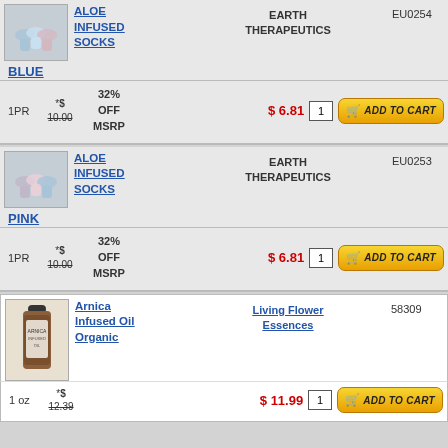[Figure (photo): Aloe infused socks in blue color, multiple pairs shown]
ALOE INFUSED SOCKS BLUE - EARTH THERAPEUTICS - EU0254
1PR *$ 10.00 32% OFF MSRP $ 6.81
[Figure (photo): Aloe infused socks in pink color, multiple pairs shown]
ALOE INFUSED SOCKS PINK - EARTH THERAPEUTICS - EU0253
1PR *$ 10.00 32% OFF MSRP $ 6.81
[Figure (photo): Arnica Infused Oil Organic bottle, amber glass bottle]
Arnica Infused Oil Organic - Living Flower Essences - 58309
1 oz *$ 12.39 $ 11.99